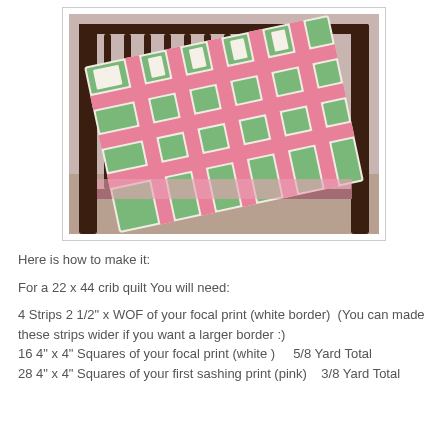[Figure (photo): A pink, green, and white patchwork quilt draped over a dark brown wooden baby crib. The quilt has a diagonal checkerboard pattern with floral prints.]
Here is how to make it:
For a 22 x 44 crib quilt You will need:
4 Strips 2 1/2" x WOF of your focal print (white border)  (You can made these strips wider if you want a larger border :)
16 4" x 4" Squares of your focal print (white )     5/8 Yard Total
28 4" x 4" Squares of your first sashing print (pink)    3/8 Yard Total